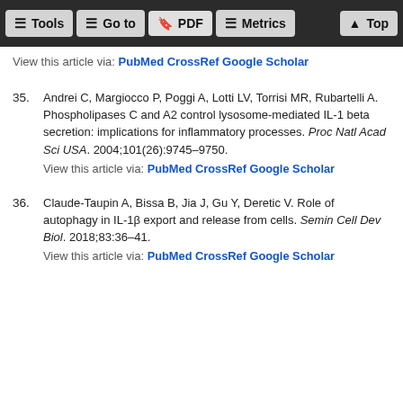Tools  Go to  PDF  Metrics  Top
View this article via: PubMed CrossRef Google Scholar
35. Andrei C, Margiocco P, Poggi A, Lotti LV, Torrisi MR, Rubartelli A. Phospholipases C and A2 control lysosome-mediated IL-1 beta secretion: implications for inflammatory processes. Proc Natl Acad Sci USA. 2004;101(26):9745–9750.
View this article via: PubMed CrossRef Google Scholar
36. Claude-Taupin A, Bissa B, Jia J, Gu Y, Deretic V. Role of autophagy in IL-1β export and release from cells. Semin Cell Dev Biol. 2018;83:36–41.
View this article via: PubMed CrossRef Google Scholar